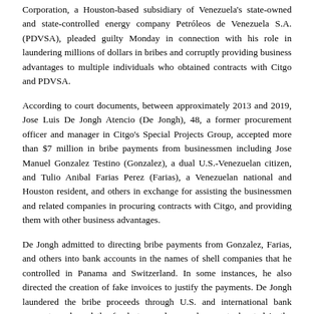Corporation, a Houston-based subsidiary of Venezuela's state-owned and state-controlled energy company Petróleos de Venezuela S.A. (PDVSA), pleaded guilty Monday in connection with his role in laundering millions of dollars in bribes and corruptly providing business advantages to multiple individuals who obtained contracts with Citgo and PDVSA.
According to court documents, between approximately 2013 and 2019, Jose Luis De Jongh Atencio (De Jongh), 48, a former procurement officer and manager in Citgo's Special Projects Group, accepted more than $7 million in bribe payments from businessmen including Jose Manuel Gonzalez Testino (Gonzalez), a dual U.S.-Venezuelan citizen, and Tulio Anibal Farias Perez (Farias), a Venezuelan national and Houston resident, and others in exchange for assisting the businessmen and related companies in procuring contracts with Citgo, and providing them with other business advantages.
De Jongh admitted to directing bribe payments from Gonzalez, Farias, and others into bank accounts in the names of shell companies that he controlled in Panama and Switzerland. In some instances, he also directed the creation of fake invoices to justify the payments. De Jongh laundered the bribe proceeds through U.S. and international bank accounts and used the funds to purchase real property located in the Houston area. In addition to monetary payments, De Jongh also received bribes in the form of gifts and other things of value from Gonzalez, Farias, and others including tickets to a 2014 World Series Game, Super Bowl XLIX in 2015, and a U2 concert. Gonzalez and Farias also entered guilty pleas in connection with the case.